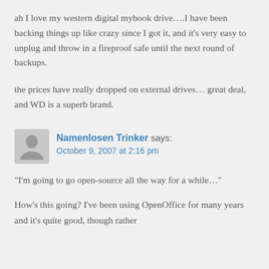ah I love my western digital mybook drive....I have been backing things up like crazy since I got it, and it’s very easy to unplug and throw in a fireproof safe until the next round of backups.
the prices have really dropped on external drives... great deal, and WD is a superb brand.
Namenlosen Trinker says:
October 9, 2007 at 2:16 pm
“I’m going to go open-source all the way for a while...”
How’s this going? I’ve been using OpenOffice for many years and it’s quite good, though rather